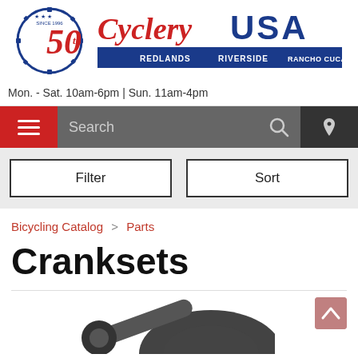[Figure (logo): Cyclery USA logo with 50th anniversary badge. Red cursive text 'Cyclery', blue bold 'USA'. Locations: Redlands, Riverside, Rancho Cucamonga.]
Mon. - Sat. 10am-6pm | Sun. 11am-4pm
[Figure (screenshot): Navigation bar with red hamburger menu icon, gray search bar with 'Search' placeholder and magnifying glass icon, dark location pin icon on right.]
[Figure (screenshot): Filter and Sort buttons on gray background.]
Bicycling Catalog > Parts
Cranksets
[Figure (photo): Partial product image showing a crankset component at bottom of page.]